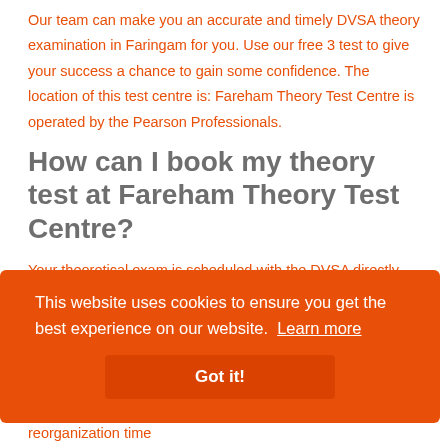Our team can make you an accurate and timely DVSA theory examination in Faringam for you. Use our free 3 test to give your success a chance to gain some confidence. The location of this test centre is: Fareham Theory Test Centre is operated by the Pearson Professionals.
How can I book my theory test at Fareham Theory Test Centre?
Your theoretical exam is scheduled with the DVSA directly. It's possible for a driver to book his theory test online. Reservations are simple. Let us help you pass your car or bicycle theory test as often
This website uses cookies to ensure you get the best experience on our website. Learn more
Got it!
If you can't attend the theory test at the notified reorganization time